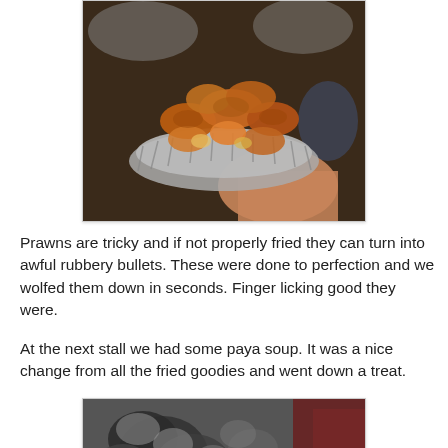[Figure (photo): A photograph of fried prawns served in a silver/aluminum foil dish being held by a hand, captured in a food market or street food stall setting.]
Prawns are tricky and if not properly fried they can turn into awful rubbery bullets. These were done to perfection and we wolfed them down in seconds. Finger licking good they were.
At the next stall we had some paya soup. It was a nice change from all the fried goodies and went down a treat.
[Figure (photo): A partially visible photograph, blurred, showing what appears to be a bowl of paya soup with dark and light elements visible.]